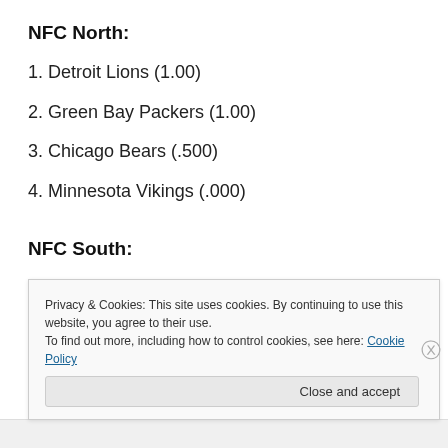NFC North:
1. Detroit Lions (1.00)
2. Green Bay Packers (1.00)
3. Chicago Bears (.500)
4. Minnesota Vikings (.000)
NFC South:
1. New Orleans Saints (.500)
Privacy & Cookies: This site uses cookies. By continuing to use this website, you agree to their use.
To find out more, including how to control cookies, see here: Cookie Policy
Close and accept